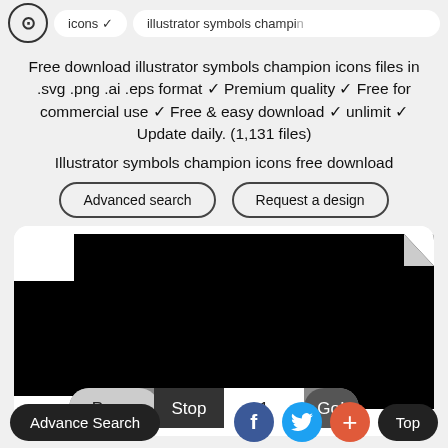icons · illustrator symbols champion
Free download illustrator symbols champion icons files in .svg .png .ai .eps format ✓ Premium quality ✓ Free for commercial use ✓ Free & easy download ✓ unlimit ✓ Update daily. (1,131 files)
Illustrator symbols champion icons free download
[Figure (screenshot): Screenshot of a website showing black icon previews with a pagination bar showing Page: Stop 1 Go!]
Advance Search | f | Twitter | + | Top